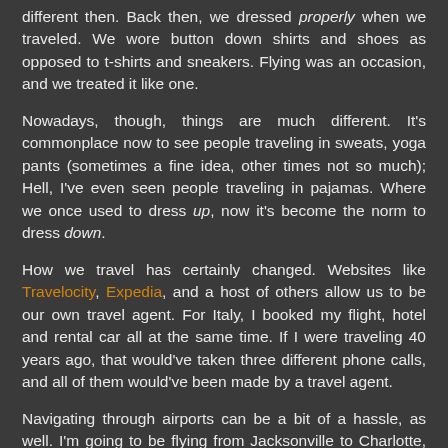different then. Back then, we dressed properly when we traveled. We wore button down shirts and shoes as opposed to t-shirts and sneakers. Flying was an occasion, and we treated it like one.
Nowadays, though, things are much different. It's commonplace now to see people traveling in sweats, yoga pants (sometimes a fine idea, other times not so much); Hell, I've even seen people traveling in pajamas. Where we once used to dress up, now it's become the norm to dress down.
How we travel has certainly changed. Websites like Travelocity, Expedia, and a host of others allow us to be our own travel agent. For Italy, I booked my flight, hotel and rental car all at the same time. If I were traveling 40 years ago, that would've taken three different phone calls, and all of them would've been made by a travel agent.
Navigating through airports can be a bit of a hassle, as well. I'm going to be flying from Jacksonville to Charlotte, where I'll spend about three hours waiting on my flight to Rome. And, undoubtedly, when it comes time to board it'll be like a cattle